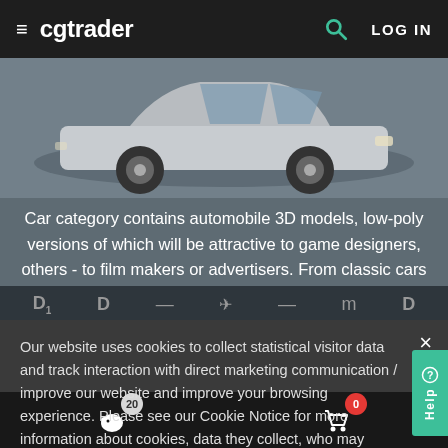≡ cgtrader  🔍  LOG IN
[Figure (screenshot): 3D car model render on dark grey background, side view of a white/silver car]
Car category contains automobile 3D models, low-poly versions of which will be attractive to game designers, others - to film makers or advertisers. From classic cars to racing and track cars to the
Our website uses cookies to collect statistical visitor data and track interaction with direct marketing communication / improve our website and improve your browsing experience. Please see our Cookie Notice for more information about cookies, data they collect, who may access them, and your rights. Learn more
Accept
20  [piggy bank icon]   0  [cart icon]